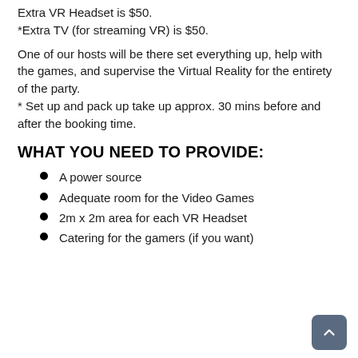Extra VR Headset is $50.
*Extra TV (for streaming VR) is $50.
One of our hosts will be there set everything up, help with the games, and supervise the Virtual Reality for the entirety of the party.
* Set up and pack up take up approx. 30 mins before and after the booking time.
WHAT YOU NEED TO PROVIDE:
A power source
Adequate room for the Video Games
2m x 2m area for each VR Headset
Catering for the gamers (if you want)